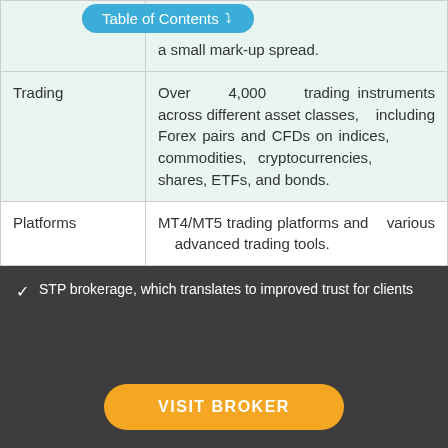|  |  |
| --- | --- |
|  | …at the with only a small mark-up spread. |
| Trading | Over 4,000 trading instruments across different asset classes, including Forex pairs and CFDs on indices, commodities, cryptocurrencies, shares, ETFs, and bonds. |
| Platforms | MT4/MT5 trading platforms and various advanced trading tools. |
STP brokerage, which translates to improved trust for clients
VISIT BROKER